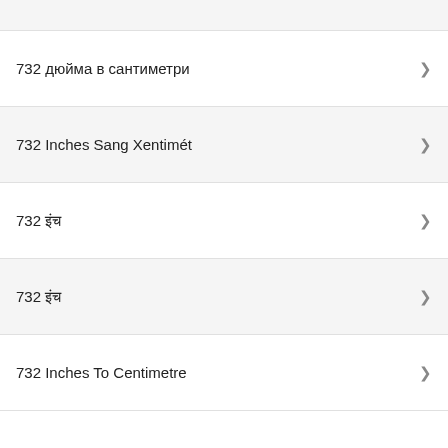732 дюйма в сантиметри
732 Inches Sang Xentimét
732 इंच
732 इंच
732 Inches To Centimetre